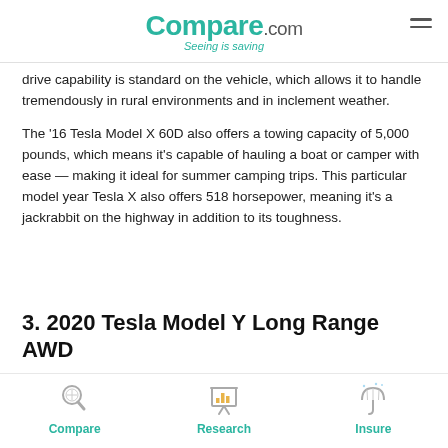Compare.com — Seeing is saving
drive capability is standard on the vehicle, which allows it to handle tremendously in rural environments and in inclement weather.
The '16 Tesla Model X 60D also offers a towing capacity of 5,000 pounds, which means it's capable of hauling a boat or camper with ease — making it ideal for summer camping trips. This particular model year Tesla X also offers 518 horsepower, meaning it's a jackrabbit on the highway in addition to its toughness.
3. 2020 Tesla Model Y Long Range AWD
[Figure (infographic): Bottom navigation bar with three icons: magnifying glass (Compare), bar chart on easel (Research), umbrella (Insure)]